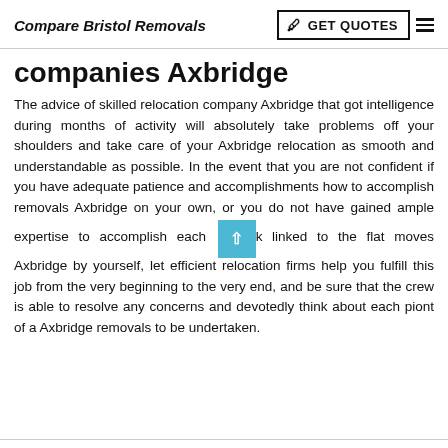Compare Bristol Removals
companies Axbridge
The advice of skilled relocation company Axbridge that got intelligence during months of activity will absolutely take problems off your shoulders and take care of your Axbridge relocation as smooth and understandable as possible. In the event that you are not confident if you have adequate patience and accomplishments how to accomplish removals Axbridge on your own, or you do not have gained ample expertise to accomplish each task linked to the flat moves Axbridge by yourself, let efficient relocation firms help you fulfill this job from the very beginning to the very end, and be sure that the crew is able to resolve any concerns and devotedly think about each piont of a Axbridge removals to be undertaken.